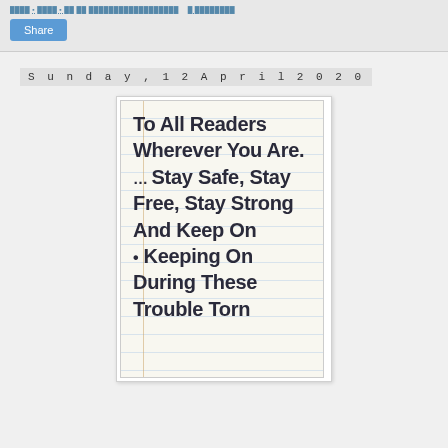Share
Sunday, 12 April 2020
[Figure (photo): Handwritten note on lined notebook paper reading: To all readers wherever you are. ... Stay safe, stay free, stay strong and keep on • keeping on during these trouble torn]